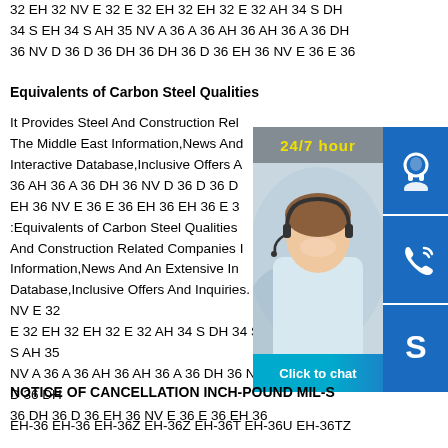32 EH 32 NV E 32 E 32 EH 32 EH 32 E 32 AH 34 S DH 34 S EH 34 S AH 35 NV A 36 A 36 AH 36 AH 36 A 36 DH 36 NV D 36 D 36 DH 36 DH 36 D 36 EH 36 NV E 36 E 36
Equivalents of Carbon Steel Qualities
It Provides Steel And Construction Related Companies In The Middle East Information,News And An Extensive Interactive Database,Inclusive Offers And Inquiries. 36 AH 36 A 36 DH 36 NV D 36 D 36 DH 36 EH 36 NV E 36 E 36 EH 36 EH 36 E 36 E :Equivalents of Carbon Steel Qualities It Provides Steel And Construction Related Companies In The Middle East Information,News And An Extensive Interactive Database,Inclusive Offers And Inquiries. EH 32 NV E 32 E 32 EH 32 EH 32 E 32 AH 34 S DH 34 S EH 34 S AH 35 NV A 36 A 36 AH 36 AH 36 A 36 DH 36 NV D 36 D 36 DH 36 DH 36 D 36 EH 36 NV E 36 E 36 EH 36
[Figure (photo): Customer service representative with headset, overlaid with 24/7 hour label, phone icon, Skype icon, and Click to chat button]
NOTICE OF CANCELLATION INCH-POUND MIL-S
EH-36 EH-36 EH-36Z EH-36Z EH-36T EH-36U EH-36TZ